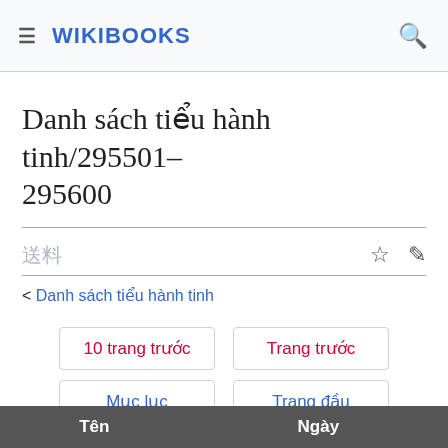≡ WIKIBOOKS 🔍
Danh sách tiểu hành tinh/295501–295600
< Danh sách tiểu hành tinh
10 trang trước | Trang trước | Mục lục | Trang đầu | Trang sau | 10 trang sau
| Tên | Ngày |
| --- | --- |